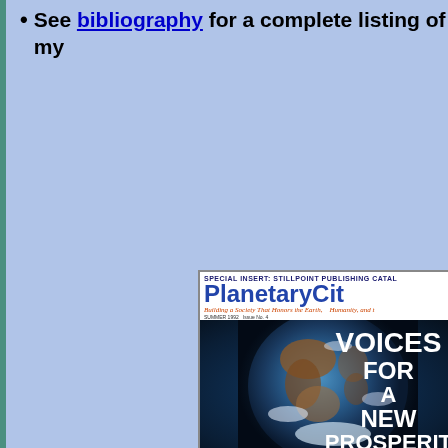See bibliography for a complete listing of my
[Figure (illustration): Cover of PlanetaryCiti magazine showing a globe from space with text overlay reading 'VOICES FOR A NEW PROSPERITY'. Header reads 'SPECIAL INSERT: STILLPOINT PUBLISHING CATAL...' Subtitle: 'Building a Society That Honors the Earth, Humanity, and t...' Issue: SUMMER 1992, Issue No. 4]